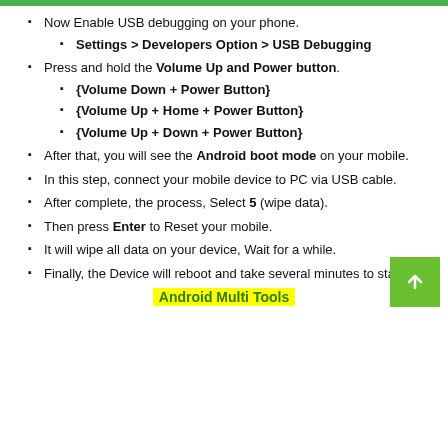Now Enable USB debugging on your phone.
Settings > Developers Option > USB Debugging
Press and hold the Volume Up and Power button.
{Volume Down + Power Button}
{Volume Up + Home + Power Button}
{Volume Up + Down + Power Button}
After that, you will see the Android boot mode on your mobile.
In this step, connect your mobile device to PC via USB cable.
After complete, the process, Select 5 (wipe data).
Then press Enter to Reset your mobile.
It will wipe all data on your device, Wait for a while.
Finally, the Device will reboot and take several minutes to start.
Android Multi Tools